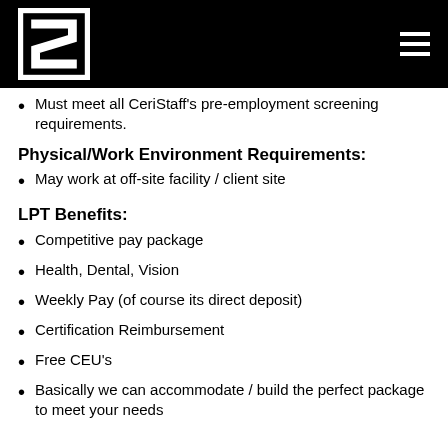[CeriStaff logo and navigation]
Must meet all CeriStaff's pre-employment screening requirements.
Physical/Work Environment Requirements:
May work at off-site facility / client site
LPT Benefits:
Competitive pay package
Health, Dental, Vision
Weekly Pay (of course its direct deposit)
Certification Reimbursement
Free CEU's
Basically we can accommodate / build the perfect package to meet your needs